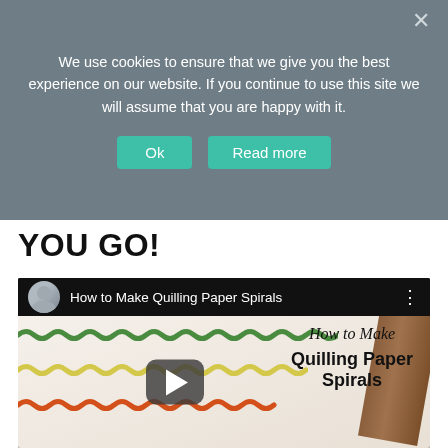We use cookies to ensure that we give you the best experience on our website. If you continue to use this site we will assume that you are happy with it.
Ok
Read more
YOU GO!
[Figure (screenshot): YouTube video player showing 'How to Make Quilling Paper Spirals' with green, yellow, and orange paper spirals on a white surface, with a play button overlay and the video title in cursive and bold text on the right side.]